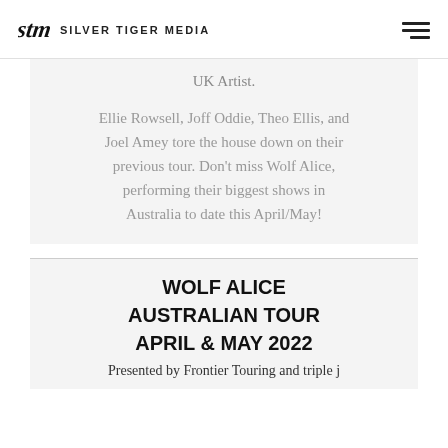SILVER TIGER MEDIA
UK Artist.
Ellie Rowsell, Joff Oddie, Theo Ellis, and Joel Amey tore the house down on their previous tour. Don't miss Wolf Alice, performing their biggest shows in Australia to date this April/May!
WOLF ALICE
AUSTRALIAN TOUR
APRIL & MAY 2022
Presented by Frontier Touring and triple j